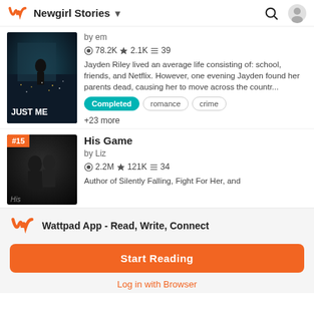Newgirl Stories
by em
78.2K 2.1K 39
Jayden Riley lived an average life consisting of: school, friends, and Netflix. However, one evening Jayden found her parents dead, causing her to move across the countr...
Completed
romance
crime
+23 more
His Game
by Liz
2.2M 121K 34
Author of Silently Falling, Fight For Her, and
Wattpad App - Read, Write, Connect
Start Reading
Log in with Browser